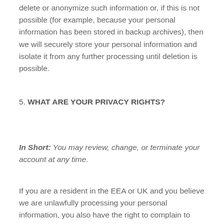delete or anonymize such information or, if this is not possible (for example, because your personal information has been stored in backup archives), then we will securely store your personal information and isolate it from any further processing until deletion is possible.
5. WHAT ARE YOUR PRIVACY RIGHTS?
In Short:  You may review, change, or terminate your account at any time.
If you are a resident in the EEA or UK and you believe we are unlawfully processing your personal information, you also have the right to complain to